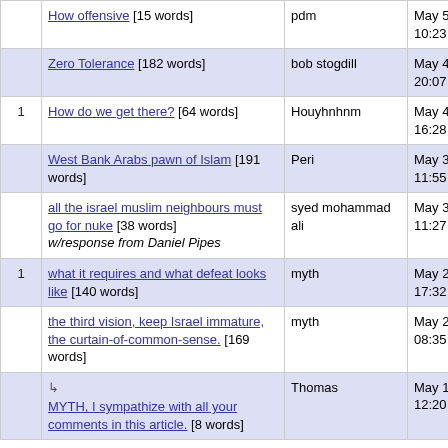|  | Title | Author | Date |
| --- | --- | --- | --- |
|  | How offensive [15 words] | pdm | May 5, 2010 10:23 |
|  | Zero Tolerance [182 words] | bob stogdill | May 4, 2010 20:07 |
| 1 | How do we get there? [64 words] | Houyhnhnm | May 4, 2010 16:28 |
|  | West Bank Arabs pawn of Islam [191 words] | Peri | May 3, 2010 11:55 |
|  | all the israel muslim neighbours must go for nuke [38 words] w/response from Daniel Pipes | syed mohammad ali | May 3, 2010 11:27 |
| 1 | what it requires and what defeat looks like [140 words] | myth | May 2, 2010 17:32 |
|  | the third vision, keep Israel immature, the curtain-of-common-sense. [169 words] | myth | May 2, 2010 08:35 |
|  | ↳ MYTH, I sympathize with all your comments in this article. [8 words] | Thomas | May 10, 2010 12:20 |